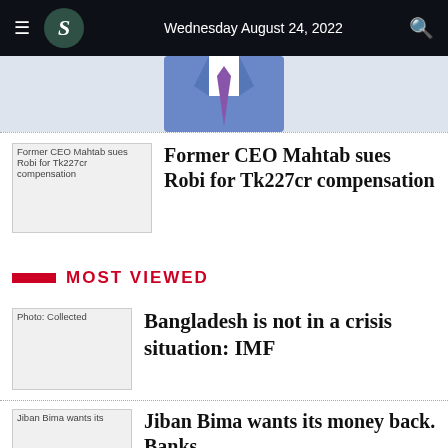Wednesday August 24, 2022
[Figure (photo): Partial illustration of a person in a blue suit with purple tie]
[Figure (photo): Thumbnail image placeholder: Former CEO Mahtab sues Robi for Tk227cr compensation]
Former CEO Mahtab sues Robi for Tk227cr compensation
MOST VIEWED
[Figure (photo): Photo: Collected]
Bangladesh is not in a crisis situation: IMF
[Figure (photo): Jiban Bima wants its...]
Jiban Bima wants its money back. Banks...